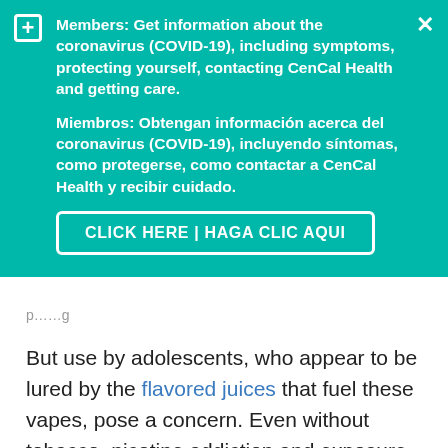[Figure (screenshot): Teal/green banner overlay with CenCal Health COVID-19 information message in English and Spanish, with a 'CLICK HERE | HAGA CLIC AQUUI' button, a plus icon top-left, and an X close button top-right.]
But use by adolescents, who appear to be lured by the flavored juices that fuel these vapes, pose a concern. Even without tobacco, nicotine addiction and exposure can severely damage a young person's brain. Plus, some users will, medical experts say, end up transitioning to tobacco-filled products.